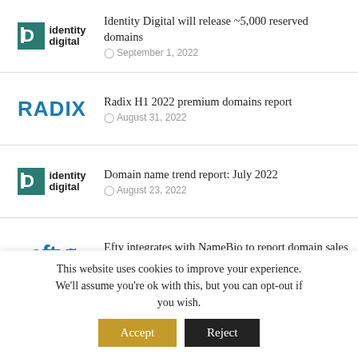Identity Digital will release ~5,000 reserved domains — September 1, 2022
Radix H1 2022 premium domains report — August 31, 2022
Domain name trend report: July 2022 — August 23, 2022
Efty integrates with NameBio to report domain sales — August 19, 2022
PIR now offers .CHARITY.
This website uses cookies to improve your experience. We'll assume you're ok with this, but you can opt-out if you wish.